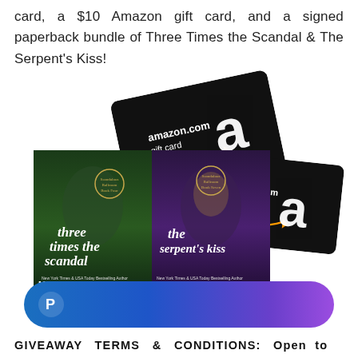card, a $10 Amazon gift card, and a signed paperback bundle of Three Times the Scandal & The Serpent's Kiss!
[Figure (photo): Two Amazon.com gift cards (black with large white 'a' logo and orange arrow) displayed overlapping and at slight angles, with two romance novel book covers below: 'Three Times the Scandal' by Madelynne Ellis (dark green cover) and 'The Serpent's Kiss' by Madelynne Ellis (purple cover). Both books show a couple embracing on the cover.]
[Figure (logo): PayPal branded pill-shaped banner with gradient blue-to-purple background and white PayPal 'P' logo on the left.]
GIVEAWAY TERMS & CONDITIONS: Open to